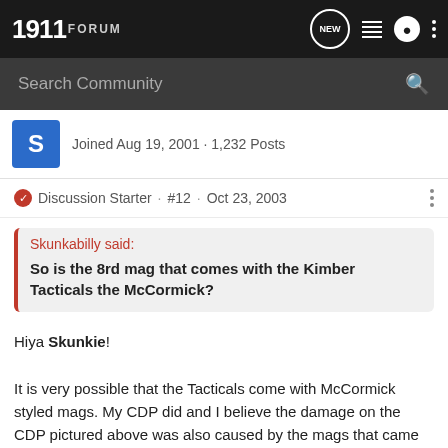1911 FORUM
Search Community
Joined Aug 19, 2001 · 1,232 Posts
Discussion Starter · #12 · Oct 23, 2003
Skunkabilly said: So is the 8rd mag that comes with the Kimber Tacticals the McCormick?
Hiya Skunkie! It is very possible that the Tacticals come with McCormick styled mags. My CDP did and I believe the damage on the CDP pictured above was also caused by the mags that came with it.